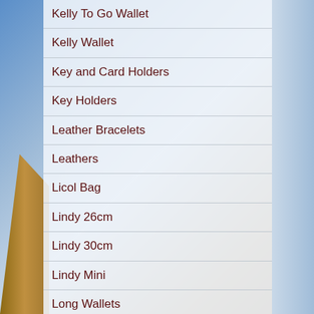Kelly To Go Wallet
Kelly Wallet
Key and Card Holders
Key Holders
Leather Bracelets
Leathers
Licol Bag
Lindy 26cm
Lindy 30cm
Lindy Mini
Long Wallets
Loop Bag